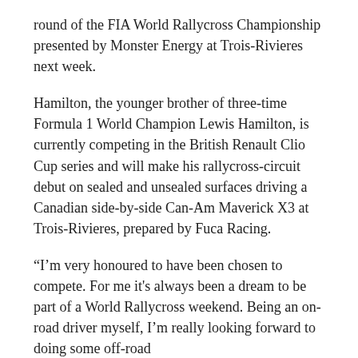round of the FIA World Rallycross Championship presented by Monster Energy at Trois-Rivieres next week.
Hamilton, the younger brother of three-time Formula 1 World Champion Lewis Hamilton, is currently competing in the British Renault Clio Cup series and will make his rallycross-circuit debut on sealed and unsealed surfaces driving a Canadian side-by-side Can-Am Maverick X3 at Trois-Rivieres, prepared by Fuca Racing.
“I’m very honoured to have been chosen to compete. For me it's always been a dream to be part of a World Rallycross weekend. Being an on-road driver myself, I’m really looking forward to doing some off-road